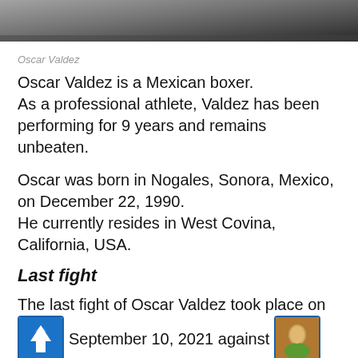[Figure (photo): Top portion of a boxing match photo showing two boxers, cropped near the bottom of the image]
Oscar Valdez
Oscar Valdez is a Mexican boxer. As a professional athlete, Valdez has been performing for 9 years and remains unbeaten.
Oscar was born in Nogales, Sonora, Mexico, on December 22, 1990. He currently resides in West Covina, California, USA.
Last fight
The last fight of Oscar Valdez took place on September 10, 2021 against Robson Conceicao